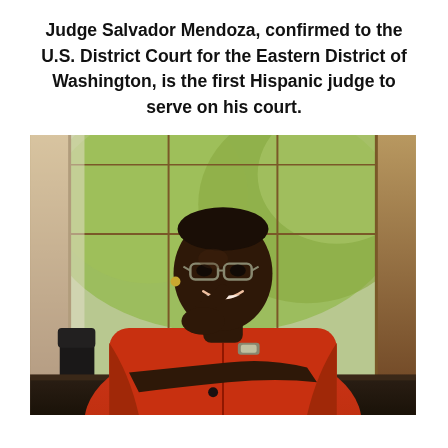Judge Salvador Mendoza, confirmed to the U.S. District Court for the Eastern District of Washington, is the first Hispanic judge to serve on his court.
[Figure (photo): A woman wearing a red blazer and glasses, seated and smiling with her hand near her chin, in front of large windows showing green trees. A wooden chair and dark table are visible.]